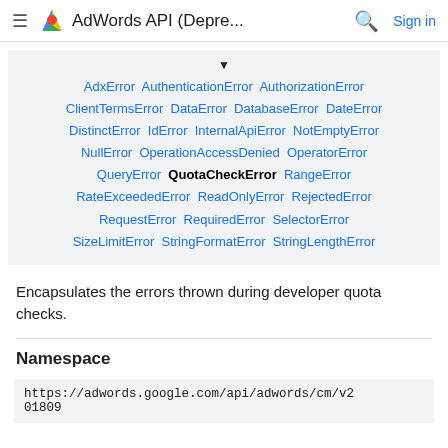AdWords API (Depre... Sign in
[Figure (other): Inheritance hierarchy box showing error classes: AdxError AuthenticationError AuthorizationError ClientTermsError DataError DatabaseError DateError DistinctError IdError InternalApiError NotEmptyError NullError OperationAccessDenied OperatorError QueryError QuotaCheckError RangeError RateExceededError ReadOnlyError RejectedError RequestError RequiredError SelectorError SizeLimitError StringFormatError StringLengthError]
Encapsulates the errors thrown during developer quota checks.
Namespace
https://adwords.google.com/api/adwords/cm/v201809